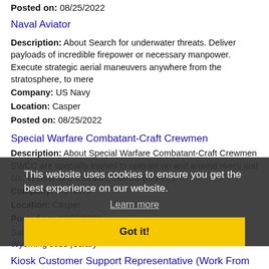Posted on: 08/25/2022
Naval Aviator
Description: About Search for underwater threats. Deliver payloads of incredible firepower or necessary manpower. Execute strategic aerial maneuvers anywhere from the stratosphere, to mere
Company: US Navy
Location: Casper
Posted on: 08/25/2022
Special Warfare Combatant-Craft Crewmen
Description: About Special Warfare Combatant-Craft Crewmen SWCC are specially trained to operate on and around rivers and co... firepower and a deadl... SWCC (more...)
Company: US Navy
Location: Casper
Posted on: 08/25/2022
This website uses cookies to ensure you get the best experience on our website.
Learn more
Got it!
Salary in Casper, Wyoming Area | More details for Casper, Wyoming Jobs |Salary
Kiosk Customer Support Representative (Work From